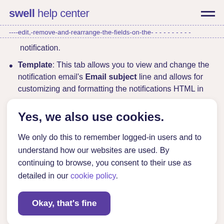swell help center
----edit,-remove-and-rearrange-the-fields-on-the-notification.
notification.
Template: This tab allows you to view and change the notification email's Email subject line and allows for customizing and formatting the notifications HTML in
Yes, we also use cookies.
We only do this to remember logged-in users and to understand how our websites are used. By continuing to browse, you consent to their use as detailed in our cookie policy.
Okay, that's fine
under Settings > General.